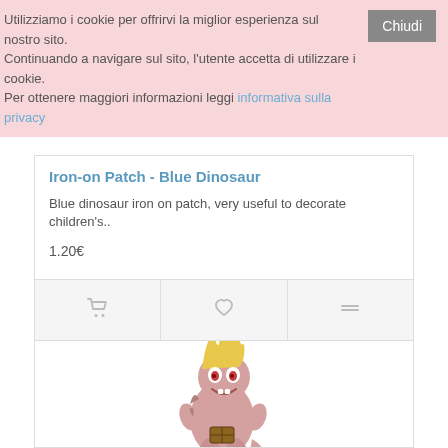Utilizziamo i cookie per offrirvi la miglior esperienza sul nostro sito. Continuando a navigare sul sito, l'utente accetta di utilizzare i cookie. Per ottenere maggiori informazioni leggi informativa sulla privacy
Chiudi
Iron-on Patch - Blue Dinosaur
Blue dinosaur iron on patch, very useful to decorate children's..
1.20€
[Figure (illustration): Shopping cart icon, heart/wishlist icon, and compare icon action buttons]
[Figure (illustration): Cartoon dinosaur iron-on patch illustration — a yellow-haired pink dinosaur character holding something, standing upright]